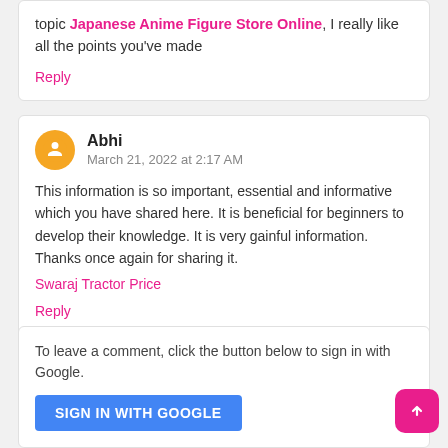topic Japanese Anime Figure Store Online, I really like all the points you've made
Reply
Abhi
March 21, 2022 at 2:17 AM
This information is so important, essential and informative which you have shared here. It is beneficial for beginners to develop their knowledge. It is very gainful information. Thanks once again for sharing it.
Swaraj Tractor Price
Reply
To leave a comment, click the button below to sign in with Google.
SIGN IN WITH GOOGLE